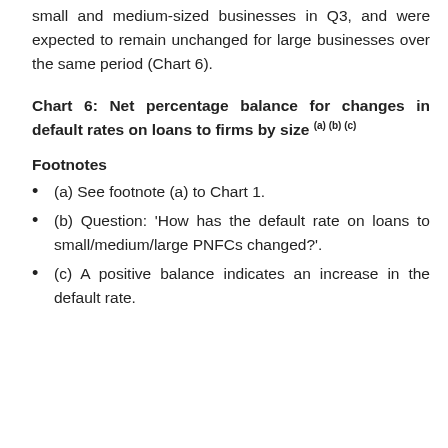small and medium-sized businesses in Q3, and were expected to remain unchanged for large businesses over the same period (Chart 6).
Chart 6: Net percentage balance for changes in default rates on loans to firms by size (a) (b) (c)
Footnotes
(a) See footnote (a) to Chart 1.
(b) Question: ‘How has the default rate on loans to small/medium/large PNFCs changed?’.
(c) A positive balance indicates an increase in the default rate.